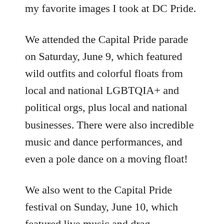my favorite images I took at DC Pride.
We attended the Capital Pride parade on Saturday, June 9, which featured wild outfits and colorful floats from local and national LGBTQIA+ and political orgs, plus local and national businesses. There were also incredible music and dance performances, and even a pole dance on a moving float!
We also went to the Capital Pride festival on Sunday, June 10, which featured live music and drag performances, in addition to hundreds of booths. There were booths for clothing and merch vendors, temples and churches, local and national businesses and nonprofits, employee